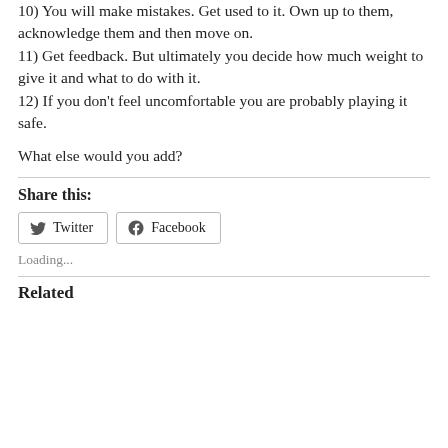10) You will make mistakes. Get used to it. Own up to them, acknowledge them and then move on.
11) Get feedback. But ultimately you decide how much weight to give it and what to do with it.
12) If you don't feel uncomfortable you are probably playing it safe.
What else would you add?
Share this:
Twitter  Facebook
Loading...
Related